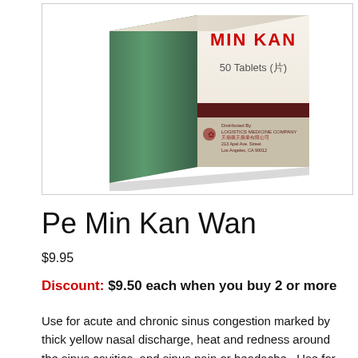[Figure (photo): Product photo of Pe Min Kan Wan box showing '50 Tablets (片)' and distributed by Loqustics Medicine Company, Los Angeles, CA]
Pe Min Kan Wan
$9.95
Discount: $9.50 each when you buy 2 or more
Use for acute and chronic sinus congestion marked by thick yellow nasal discharge, heat and redness around the sinus cavities, and sinus pain or headache.  Use for nasal symptoms such as runny, stuffy nose due to common cold or flu or